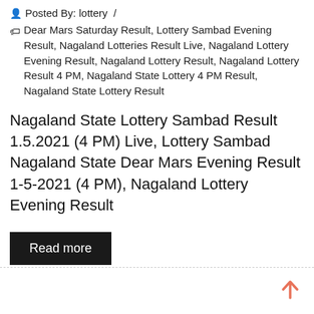Posted By: lottery /
Dear Mars Saturday Result, Lottery Sambad Evening Result, Nagaland Lotteries Result Live, Nagaland Lottery Evening Result, Nagaland Lottery Result, Nagaland Lottery Result 4 PM, Nagaland State Lottery 4 PM Result, Nagaland State Lottery Result
Nagaland State Lottery Sambad Result 1.5.2021 (4 PM) Live, Lottery Sambad Nagaland State Dear Mars Evening Result 1-5-2021 (4 PM), Nagaland Lottery Evening Result
Read more